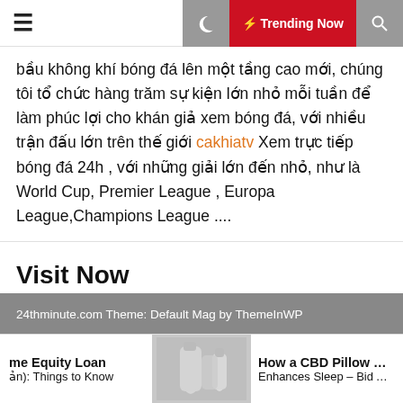≡  🌙  ⚡ Trending Now  🔍
bầu không khí bóng đá lên một tầng cao mới, chúng tôi tổ chức hàng trăm sự kiện lớn nhỏ mỗi tuần để làm phúc lợi cho khán giả xem bóng đá, với nhiều trận đấu lớn trên thế giới cakhiatv Xem trực tiếp bóng đá 24h , với những giải lớn đến nhỏ, như là World Cup, Premier League , Europa League,Champions League ....
Visit Now
Home Design
24thminute.com Theme: Default Mag by ThemeInWP
me Equity Loan
ản): Things to Know
[Figure (photo): Small bottle product image (CBD Pillow Mist Spray)]
How a CBD Pillow Mist Spray
Enhances Sleep – Bid Adieu t